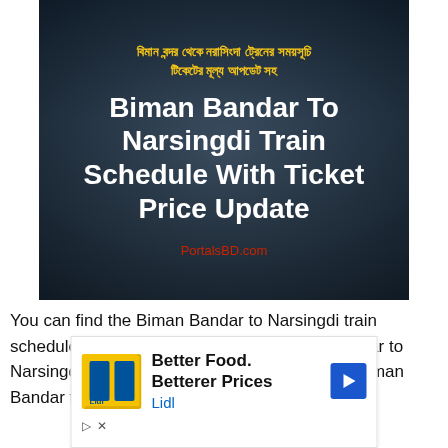[Figure (photo): Hero image with dark background showing a train, with Bengali text and English title about Biman Bandar to Narsingdi Train Schedule, with PortalsBD.com watermark]
Biman Bandar To Narsingdi Train Schedule With Ticket Price Update
You can find the Biman Bandar to Narsingdi train schedule here. You can travel from Biman Bandar to Narsingdi by train. If you want to travel on the Biman Bandar to Narsingdi route, the train is your best choice. Biman Bandar To Narsingdi train it...
[Figure (other): Advertisement banner for Lidl: Better Food. Betterer Prices]